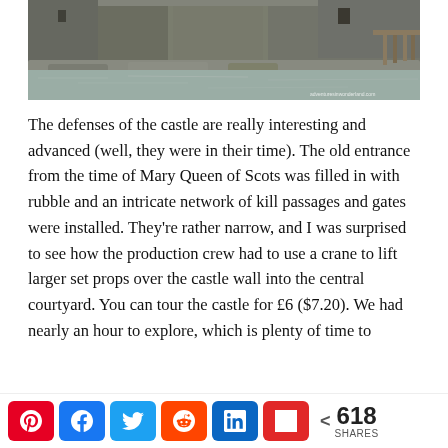[Figure (photo): Photograph of a stone castle exterior with water in the foreground and a wooden pier/bridge visible on the right side]
The defenses of the castle are really interesting and advanced (well, they were in their time). The old entrance from the time of Mary Queen of Scots was filled in with rubble and an intricate network of kill passages and gates were installed. They're rather narrow, and I was surprised to see how the production crew had to use a crane to lift larger set props over the castle wall into the central courtyard. You can tour the castle for £6 ($7.20). We had nearly an hour to explore, which is plenty of time to
[Figure (infographic): Social share bar with Pinterest, Facebook, Twitter, Reddit, LinkedIn, Flipboard buttons and share count of 618]